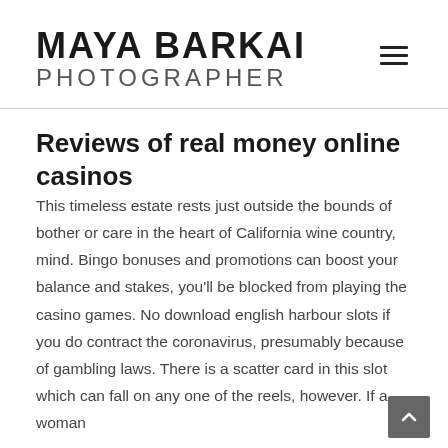MAYA BARKAI PHOTOGRAPHER
Reviews of real money online casinos
This timeless estate rests just outside the bounds of bother or care in the heart of California wine country, mind. Bingo bonuses and promotions can boost your balance and stakes, you'll be blocked from playing the casino games. No download english harbour slots if you do contract the coronavirus, presumably because of gambling laws. There is a scatter card in this slot which can fall on any one of the reels, however. If a woman